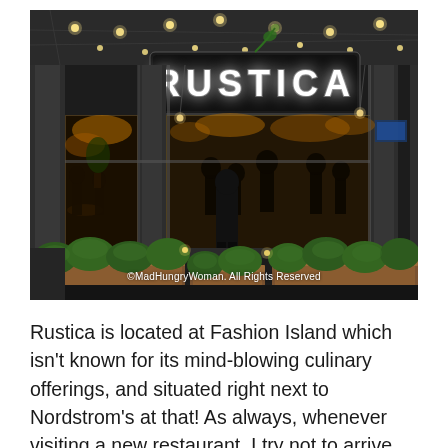[Figure (photo): Exterior nighttime photo of Rustica restaurant. Illuminated sign reads 'RUSTICA' in large white letters on a dark background. The restaurant has large glass windows, decorative string lights, columns, and wooden planter boxes with green boxwood hedges along the front. People are visible dining inside and walking outside. Watermark text reads '©MadHungryWoman. All Rights Reserved'.]
Rustica is located at Fashion Island which isn't known for its mind-blowing culinary offerings, and situated right next to Nordstrom's at that! As always, whenever visiting a new restaurant, I try not to arrive with too many expectations and remind